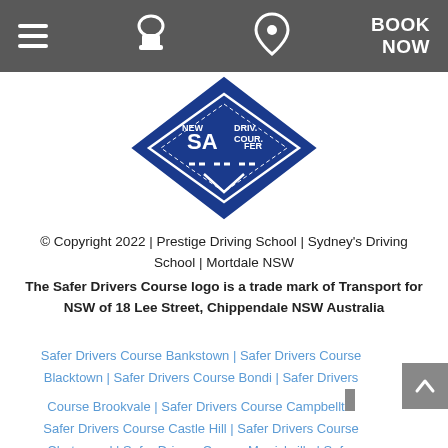Navigation bar with hamburger menu, phone icon, location icon, and BOOK NOW button
[Figure (logo): NSW Safer Drivers Course logo — a blue diamond/rhombus shape with white text reading 'NEW... SA... DRIV... COUR...' and a dashed road marking graphic]
© Copyright 2022 | Prestige Driving School | Sydney's Driving School | Mortdale NSW
The Safer Drivers Course logo is a trade mark of Transport for NSW of 18 Lee Street, Chippendale NSW Australia
Safer Drivers Course Bankstown | Safer Drivers Course Blacktown | Safer Drivers Course Bondi | Safer Drivers Course Brookvale | Safer Drivers Course Campbelltown | Safer Drivers Course Castle Hill | Safer Drivers Course Chatswood | Safer Drivers Course Marrickville | Safer Drivers Course Miranda | Safer Drivers Course Rouse Hill | Safer Drivers Course Ryde | Safer Drivers Course...